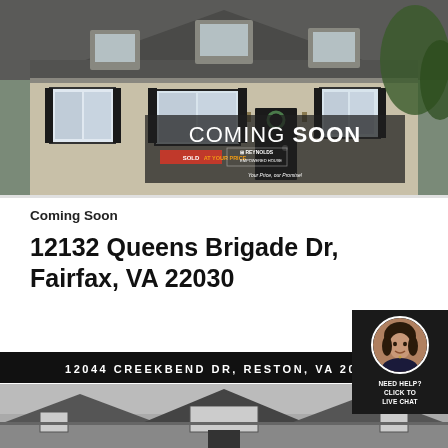[Figure (photo): Exterior photo of a house with gray shingle roof, beige/stone facade, black shutters, and a Coming Soon overlay with sold at your price and Reynolds branding]
Coming Soon
12132 Queens Brigade Dr, Fairfax, VA 22030
[Figure (photo): Chat widget with female agent photo, NEED HELP? CLICK TO LIVE CHAT text]
12044 CREEKBEND DR, RESTON, VA 20194
[Figure (photo): Black and white exterior photo of a house with multiple gables]